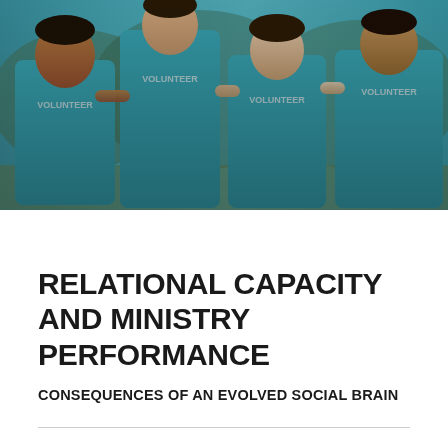[Figure (photo): Group of four people wearing teal/turquoise 'VOLUNTEER' t-shirts, standing together outdoors with arms around each other, smiling.]
RELATIONAL CAPACITY AND MINISTRY PERFORMANCE
CONSEQUENCES OF AN EVOLVED SOCIAL BRAIN